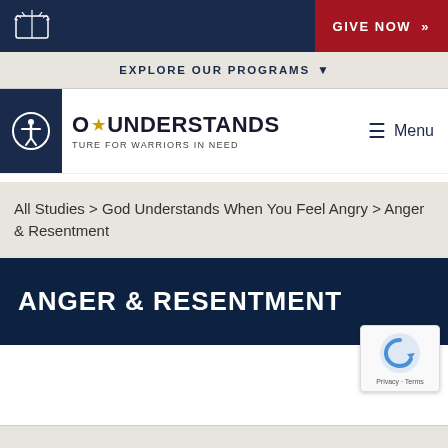GIVE NOW >>
EXPLORE OUR PROGRAMS
GOD UNDERSTANDS — SCRIPTURE FOR WARRIORS IN NEED | Menu
All Studies > God Understands When You Feel Angry > Anger & Resentment
ANGER & RESENTMENT